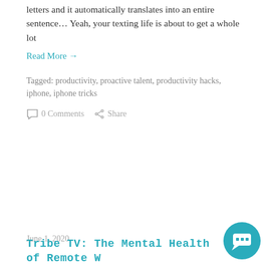letters and it automatically translates into an entire sentence… Yeah, your texting life is about to get a whole lot
Read More →
Tagged: productivity, proactive talent, productivity hacks, iphone, iphone tricks
0 Comments   Share
June 1, 2020
Tribe TV: The Mental Health of Remote Working